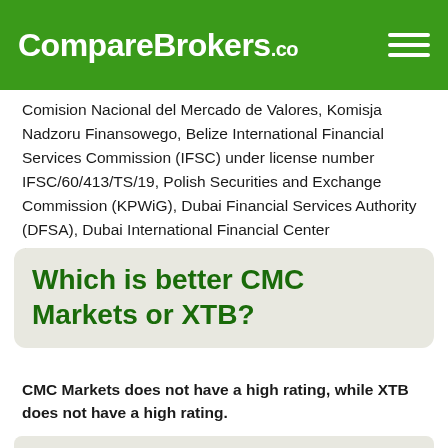CompareBrokers.co
Comision Nacional del Mercado de Valores, Komisja Nadzoru Finansowego, Belize International Financial Services Commission (IFSC) under license number IFSC/60/413/TS/19, Polish Securities and Exchange Commission (KPWiG), Dubai Financial Services Authority (DFSA), Dubai International Financial Center (DIFC),Financial Sector Conduct Authority (FSCA), XTB AFRICA (PTY) LTD licensed to operate in South Africa and have been in business since 2002.
Which is better CMC Markets or XTB?
CMC Markets does not have a high rating, while XTB does not have a high rating.